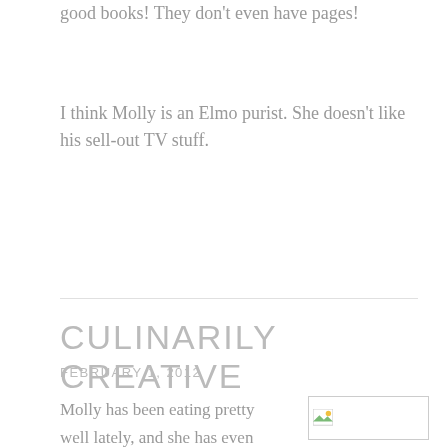good books! They don't even have pages!
I think Molly is an Elmo purist. She doesn't like his sell-out TV stuff.
CULINARILY CREATIVE
FEBRUARY 1, 2012
Molly has been eating pretty well lately, and she has even gotten more adventurous in her food choices. She is
[Figure (photo): Broken/missing image placeholder with small image icon in top-left corner]